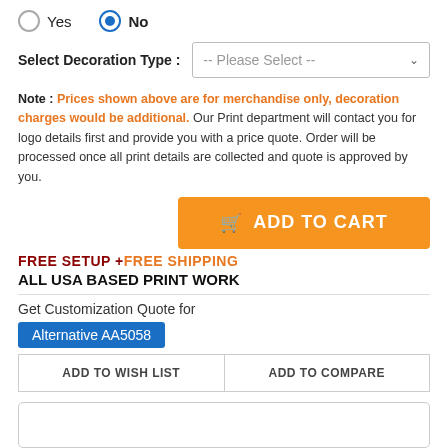Yes  No (radio buttons)
Select Decoration Type : -- Please Select --
Note : Prices shown above are for merchandise only, decoration charges would be additional. Our Print department will contact you for logo details first and provide you with a price quote. Order will be processed once all print details are collected and quote is approved by you.
[Figure (other): Orange Add to Cart button with shopping cart icon]
FREE SETUP + FREE SHIPPING
ALL USA BASED PRINT WORK
Get Customization Quote for
Alternative AA5058
ADD TO WISH LIST
ADD TO COMPARE